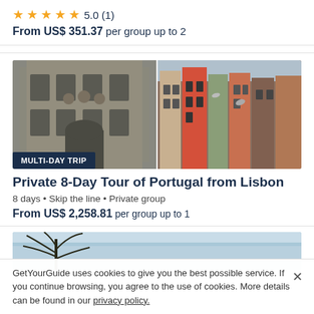★★★★★ 5.0 (1)
From US$ 351.37 per group up to 2
[Figure (photo): Two-panel photo of Porto, Portugal: left panel shows ornate stone building facade, right panel shows colorful historic buildings on a hill]
MULTI-DAY TRIP
Private 8-Day Tour of Portugal from Lisbon
8 days • Skip the line • Private group
From US$ 2,258.81 per group up to 1
[Figure (photo): Partial photo with blue sky and tree silhouette]
GetYourGuide uses cookies to give you the best possible service. If you continue browsing, you agree to the use of cookies. More details can be found in our privacy policy.